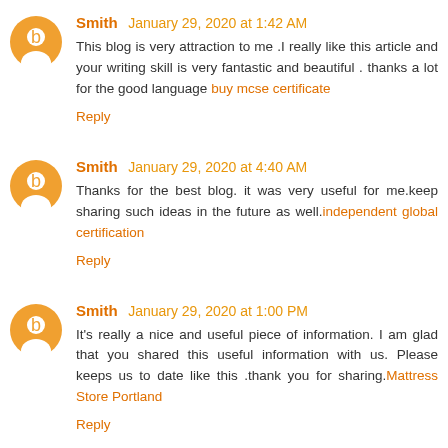Smith January 29, 2020 at 1:42 AM
This blog is very attraction to me .I really like this article and your writing skill is very fantastic and beautiful . thanks a lot for the good language buy mcse certificate
Reply
Smith January 29, 2020 at 4:40 AM
Thanks for the best blog. it was very useful for me.keep sharing such ideas in the future as well.independent global certification
Reply
Smith January 29, 2020 at 1:00 PM
It's really a nice and useful piece of information. I am glad that you shared this useful information with us. Please keeps us to date like this .thank you for sharing.Mattress Store Portland
Reply